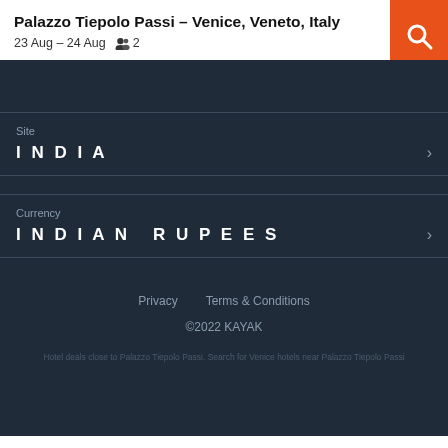Palazzo Tiepolo Passi – Venice, Veneto, Italy
23 Aug – 24 Aug  2
Site
INDIA
Currency
INDIAN RUPEES
Privacy  Terms & Conditions
©2022 KAYAK
Hotel deals close to Palazzo Tiepolo Passi. Search for Venice hotels near Palazzo Tiepolo Passi